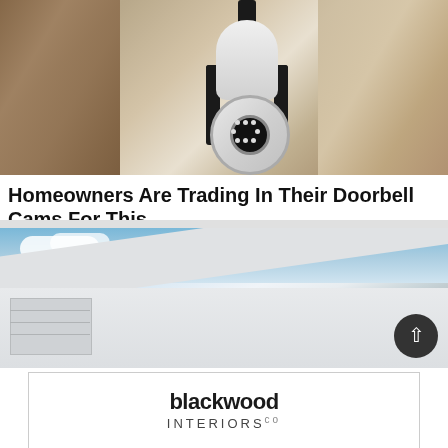[Figure (photo): Security camera mounted in an outdoor light fixture with stucco wall background]
Homeowners Are Trading In Their Doorbell Cams For This
Camerca | Sponsored
Learn More
[Figure (photo): Exterior of a white house with garage and sky background, with a scroll-up button overlay]
[Figure (logo): blackwood INTERIORS co logo in black and white]